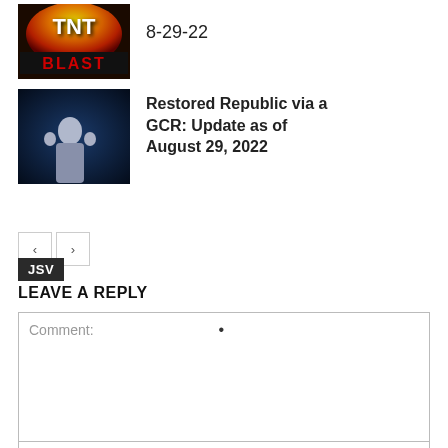[Figure (photo): Thumbnail image for article with flame/blast graphic and text 'TNT BLAST']
8-29-22
[Figure (photo): Thumbnail image showing a figure holding children against a dark blue background]
Restored Republic via a GCR: Update as of August 29, 2022
JSV
< >
LEAVE A REPLY
Comment: